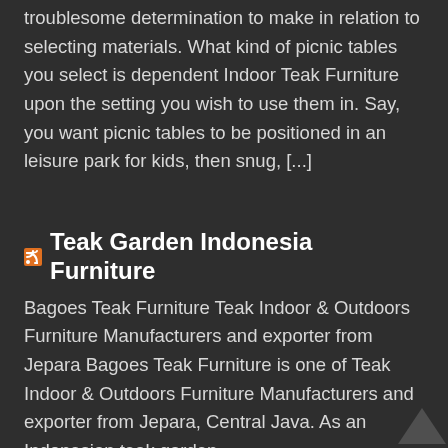troublesome determination to make in relation to selecting materials. What kind of picnic tables you select is dependent Indoor Teak Furniture upon the setting you wish to use them in. Say, you want picnic tables to be positioned in an leisure park for kids, then snug, [...]
Teak Garden Indonesia Furniture
Bagoes Teak Furniture Teak Indoor & Outdoors Furniture Manufacturers and exporter from Jepara Bagoes Teak Furniture is one of Teak Indoor & Outdoors Furniture Manufacturers and exporter from Jepara, Central Java. As an Indonesian teak garden furniture...